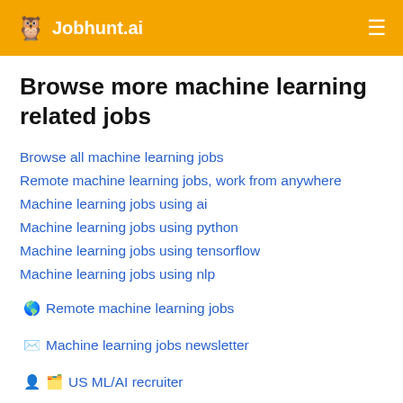🦉 Jobhunt.ai
Browse more machine learning related jobs
Browse all machine learning jobs
Remote machine learning jobs, work from anywhere
Machine learning jobs using ai
Machine learning jobs using python
Machine learning jobs using tensorflow
Machine learning jobs using nlp
🌎 Remote machine learning jobs
✉️ Machine learning jobs newsletter
👤 🗂️ US ML/AI recruiter